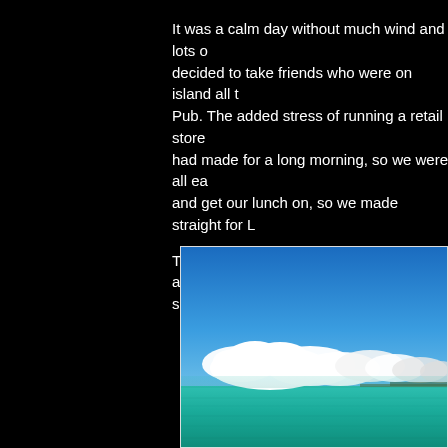It was a calm day without much wind and lots of sun. We decided to take friends who were on island all the way to the Pub. The added stress of running a retail store during the week had made for a long morning, so we were all eager to sit down and get our lunch on, so we made straight for L...
The day was gorgeous as we "oooooed" and "a..." heading south.
[Figure (photo): Ocean scene with vivid turquoise water in the foreground, a bank of white cumulus clouds on the horizon, and a bright blue sky above. A low landmass is faintly visible in the distance.]